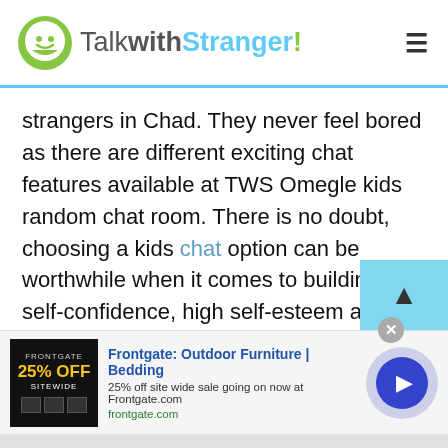TalkwithStranger!
strangers in Chad. They never feel bored as there are different exciting chat features available at TWS Omegle kids random chat room. There is no doubt, choosing a kids chat option can be worthwhile when it comes to building self-confidence, high self-esteem and social skills.
TWS Omegle kids option gives your kids a great chance to meet new friends online from different countries. Once kids start talking to strangers online they can not only vast their knowledge horizon also
[Figure (other): Advertisement banner for Frontgate: Outdoor Furniture | Bedding. 25% off site wide sale going on now at Frontgate.com. Shows ad image with '25% OFF SITEWIDE' text on dark background, and a circular play button.]